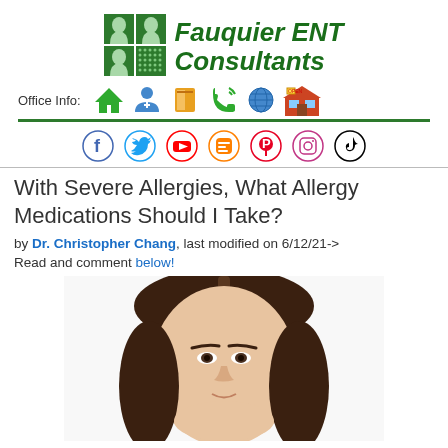[Figure (logo): Fauquier ENT Consultants logo with green head silhouette icons and green italic text]
Office Info: [home] [doctor] [book] [phone] [globe] [store]
Social media icons: Facebook, Twitter, YouTube, Blogger, Pinterest, Instagram, TikTok
With Severe Allergies, What Allergy Medications Should I Take?
by Dr. Christopher Chang, last modified on 6/12/21->
Read and comment below!
[Figure (photo): Photo of a young woman with straight brown hair looking slightly downward, white background]